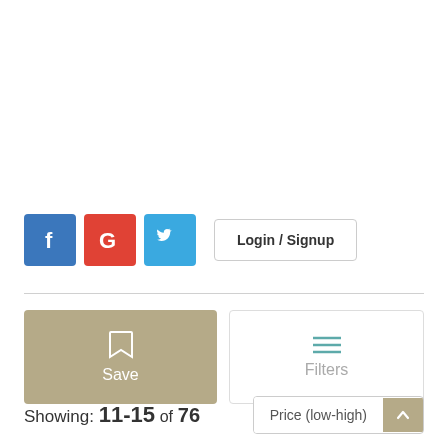[Figure (screenshot): Social login buttons: Facebook (blue), Google (red), Twitter (blue bird), and a Login / Signup button]
[Figure (screenshot): Save button (tan/khaki) with bookmark icon and Filters button with hamburger lines icon]
Showing: 11-15 of 76   Price (low-high)